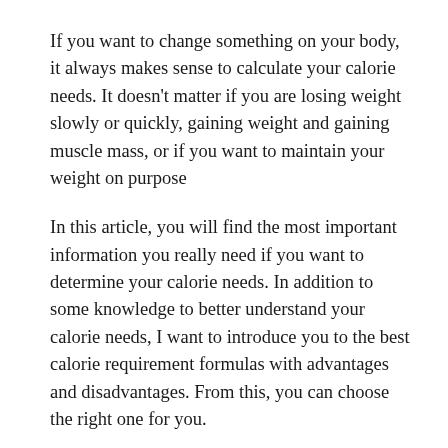If you want to change something on your body, it always makes sense to calculate your calorie needs. It doesn't matter if you are losing weight slowly or quickly, gaining weight and gaining muscle mass, or if you want to maintain your weight on purpose
In this article, you will find the most important information you really need if you want to determine your calorie needs. In addition to some knowledge to better understand your calorie needs, I want to introduce you to the best calorie requirement formulas with advantages and disadvantages. From this, you can choose the right one for you.
I also want to give you some advice on how to interpret and deal with the relevant results. I always try to limit myself to what really helps you better understand your calorie needs and make the knowledge useful.
If you're not interested in your own calculations, just want